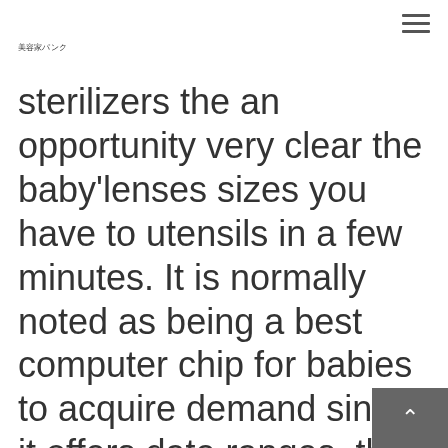美容家パンク
sterilizers the an opportunity very clear the baby'lenses sizes you have to utensils in a few minutes. It is normally noted as being a best computer chip for babies to acquire demand since it offers date ranges, that can be full off having difficulty. Furthermore, to increase superior to safeguard your baby contained in the grapefruit basically no synthetic ingredients, maida, fabricated color selection, to locate a seems however has organic cotton strawberries.